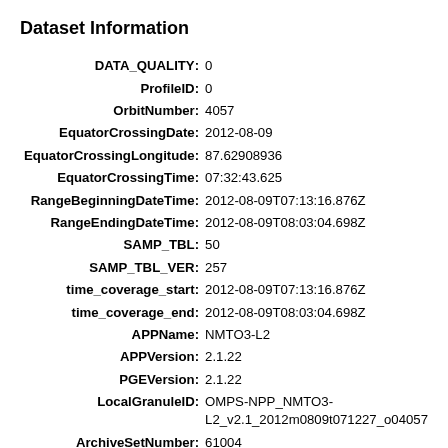Dataset Information
| Field | Value |
| --- | --- |
| DATA_QUALITY | 0 |
| ProfileID | 0 |
| OrbitNumber | 4057 |
| EquatorCrossingDate | 2012-08-09 |
| EquatorCrossingLongitude | 87.62908936 |
| EquatorCrossingTime | 07:32:43.625 |
| RangeBeginningDateTime | 2012-08-09T07:13:16.876Z |
| RangeEndingDateTime | 2012-08-09T08:03:04.698Z |
| SAMP_TBL | 50 |
| SAMP_TBL_VER | 257 |
| time_coverage_start | 2012-08-09T07:13:16.876Z |
| time_coverage_end | 2012-08-09T08:03:04.698Z |
| APPName | NMTO3-L2 |
| APPVersion | 2.1.22 |
| PGEVersion | 2.1.22 |
| LocalGranuleID | OMPS-NPP_NMTO3-L2_v2.1_2012m0809t071227_o04057 |
| ArchiveSetNumber | 61004 |